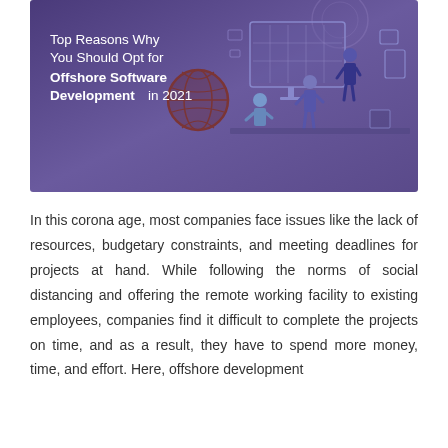[Figure (illustration): Banner illustration with purple/violet background showing isometric office workers collaborating, with screens and tech equipment. Text overlay reads: 'Top Reasons Why You Should Opt for Offshore Software Development in 2021'. A dark red globe icon overlaps the text area.]
In this corona age, most companies face issues like the lack of resources, budgetary constraints, and meeting deadlines for projects at hand. While following the norms of social distancing and offering the remote working facility to existing employees, companies find it difficult to complete the projects on time, and as a result, they have to spend more money, time, and effort. Here, offshore development